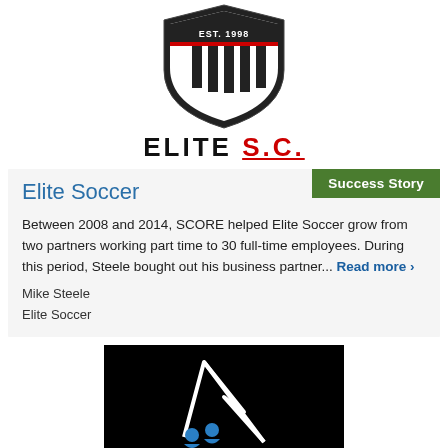[Figure (logo): Elite S.C. soccer club shield logo with EST. 1998 text and vertical stripes, black and white]
ELITE S.C.
[Figure (infographic): Green badge reading 'Success Story']
Elite Soccer
Between 2008 and 2014, SCORE helped Elite Soccer grow from two partners working part time to 30 full-time employees. During this period, Steele bought out his business partner... Read more >
Mike Steele
Elite Soccer
[Figure (logo): Black background with white mountain/peak logo and blue human figures at bottom]